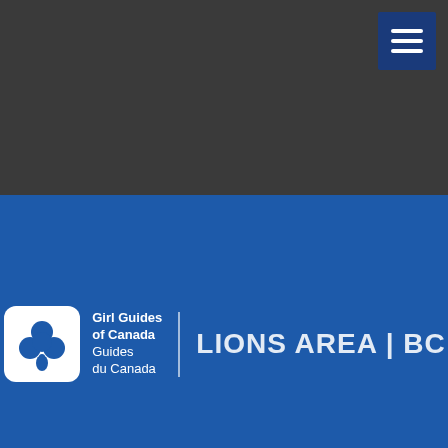[Figure (screenshot): Dark grey navigation banner at top of webpage]
[Figure (logo): Girl Guides of Canada / Guides du Canada logo with clover emblem, and LIONS AREA | BC text on blue background]
Member login
MUSIC